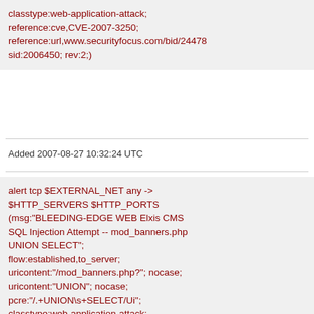classtype:web-application-attack; reference:cve,CVE-2007-3250; reference:url,www.securityfocus.com/bid/24478 sid:2006450; rev:2;)
Added 2007-08-27 10:32:24 UTC
alert tcp $EXTERNAL_NET any -> $HTTP_SERVERS $HTTP_PORTS (msg:"BLEEDING-EDGE WEB Elxis CMS SQL Injection Attempt -- mod_banners.php UNION SELECT"; flow:established,to_server; uricontent:"/mod_banners.php?"; nocase; uricontent:"UNION"; nocase; pcre:"/.+UNION\s+SELECT/Ui"; classtype:web-application-attack; reference:cve,CVE-2007-3250; reference:url,www.securityfocus.com/bid/24478 sid:2006450; rev:2;)